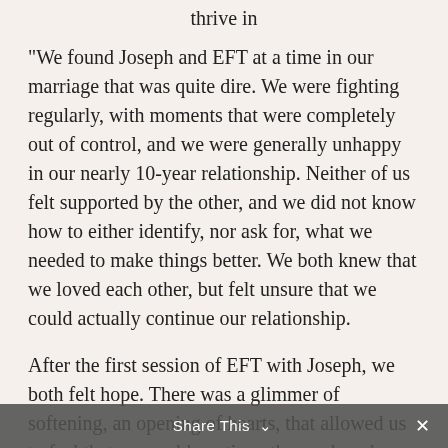thrive in
“We found Joseph and EFT at a time in our marriage that was quite dire. We were fighting regularly, with moments that were completely out of control, and we were generally unhappy in our nearly 10-year relationship. Neither of us felt supported by the other, and we did not know how to either identify, nor ask for, what we needed to make things better. We both knew that we loved each other, but felt unsure that we could actually continue our relationship.
After the first session of EFT with Joseph, we both felt hope. There was a glimmer of softening, an opening of hearts, that allowed us to feel that we could continue the work and see how things went. By the 4th or 5th session, we were beginning to be able to
Share This